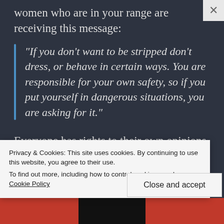women who are in your range are receiving this message:
“If you don’t want to be stripped don’t dress, or behave in certain ways. You are responsible for your own safety, so if you put yourself in dangerous situations, you are asking for it.”
Everyone has rights to their own opinions, so if that is actually what you want to say, go right ahead. I however, think the above objections are
Privacy & Cookies: This site uses cookies. By continuing to use this website, you agree to their use.
To find out more, including how to control cookies, see here: Cookie Policy
Close and accept